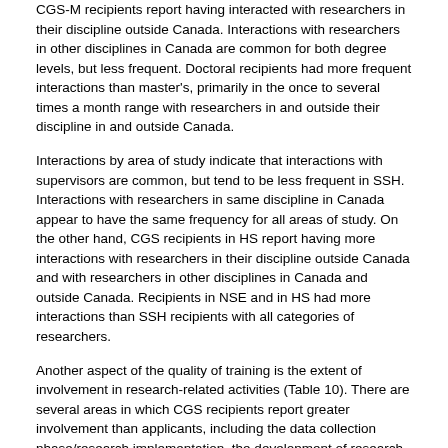CGS-M recipients report having interacted with researchers in their discipline outside Canada. Interactions with researchers in other disciplines in Canada are common for both degree levels, but less frequent. Doctoral recipients had more frequent interactions than master's, primarily in the once to several times a month range with researchers in and outside their discipline in and outside Canada.
Interactions by area of study indicate that interactions with supervisors are common, but tend to be less frequent in SSH. Interactions with researchers in same discipline in Canada appear to have the same frequency for all areas of study. On the other hand, CGS recipients in HS report having more interactions with researchers in their discipline outside Canada and with researchers in other disciplines in Canada and outside Canada. Recipients in NSE and in HS had more interactions than SSH recipients with all categories of researchers.
Another aspect of the quality of training is the extent of involvement in research-related activities (Table 10). There are several areas in which CGS recipients report greater involvement than applicants, including the data collection phase/research implementation, the development of research protocol methods,